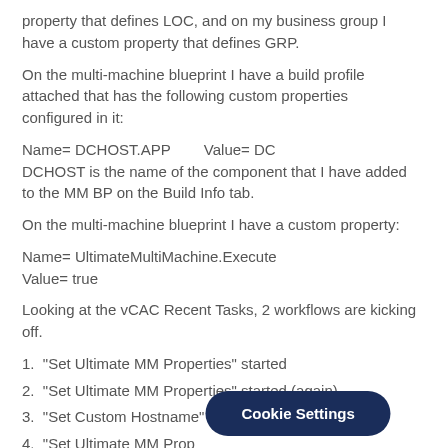property that defines LOC, and on my business group I have a custom property that defines GRP.
On the multi-machine blueprint I have a build profile attached that has the following custom properties configured in it:
Name= DCHOST.APP        Value= DC
DCHOST is the name of the component that I have added to the MM BP on the Build Info tab.
On the multi-machine blueprint I have a custom property:
Name= UltimateMultiMachine.Execute
Value= true
Looking at the vCAC Recent Tasks, 2 workflows are kicking off.
1. "Set Ultimate MM Properties" started
2. "Set Ultimate MM Properties" started (again)
3. "Set Custom Hostname" started
4. "Set Ultimate MM Prop...
Cookie Settings